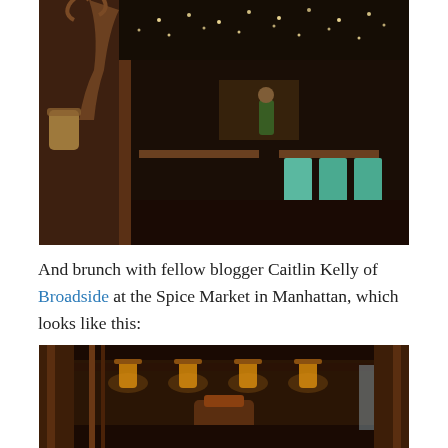[Figure (photo): Interior of a dimly lit bar/restaurant with deer antler mount, string lights on ceiling, tables and teal chairs visible]
And brunch with fellow blogger Caitlin Kelly of Broadside at the Spice Market in Manhattan, which looks like this:
[Figure (photo): Interior of Spice Market restaurant in Manhattan showing ornate wooden columns, hanging lantern-style lights, and warm amber lighting]